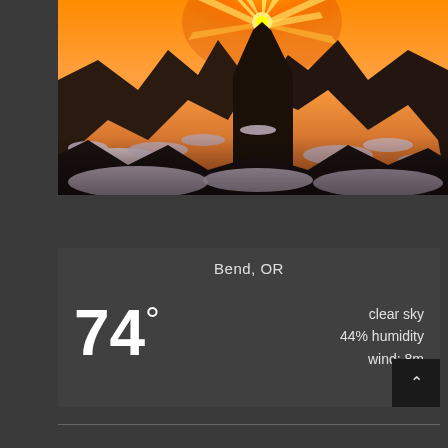[Figure (photo): Mountain sunset landscape with snow, rocky peaks and golden sunburst rays behind a mountain summit against orange sky]
Bend, OR
74°
clear sky
44% humidity
wind: 8m
H 76